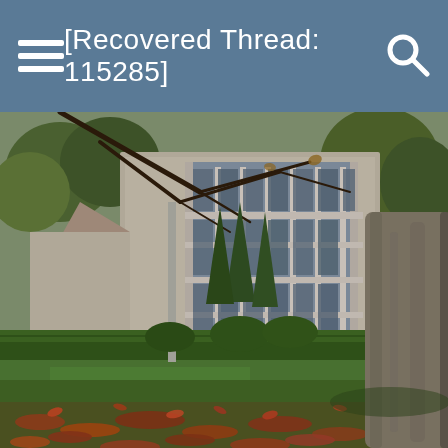[Recovered Thread: 115285]
[Figure (photo): Outdoor autumn scene showing a stone Gothic-style church or chapel with tall arched stained glass windows, surrounded by manicured hedges and green lawn. A large tree trunk dominates the right foreground. The ground is covered with fallen red and brown autumn leaves. Bare branches extend across the upper portion of the image.]